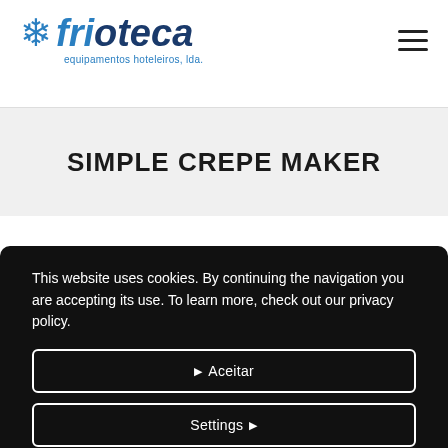frioteca — equipamentos hoteleiros, lda.
SIMPLE CREPE MAKER
This website uses cookies. By continuing the navigation you are accepting its use. To learn more, check out our privacy policy.
Aceitar
Settings